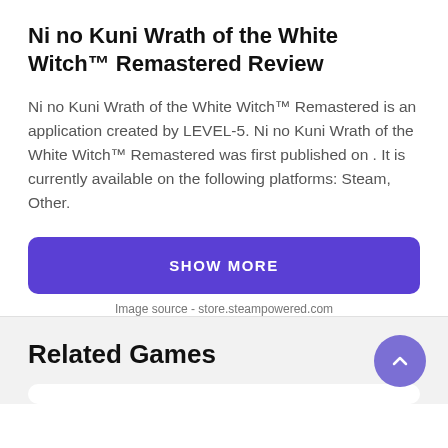Ni no Kuni Wrath of the White Witch™ Remastered Review
Ni no Kuni Wrath of the White Witch™ Remastered is an application created by LEVEL-5. Ni no Kuni Wrath of the White Witch™ Remastered was first published on . It is currently available on the following platforms: Steam, Other.
SHOW MORE
Image source - store.steampowered.com
Related Games